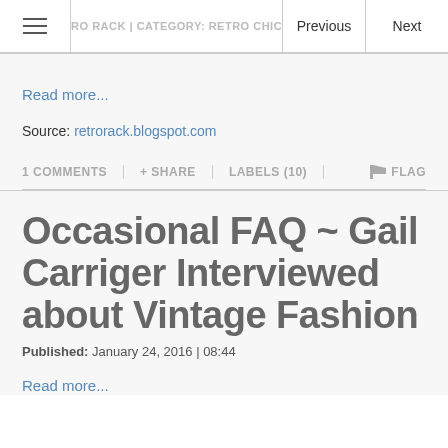RETRO RACK | CATEGORY: RETRO CHIC | (R...
Read more...
Source: retrorack.blogspot.com
1 COMMENTS  + SHARE  LABELS (10)  FLAG
Occasional FAQ ~ Gail Carriger Interviewed about Vintage Fashion
Published:  January 24, 2016 | 08:44
Read more...